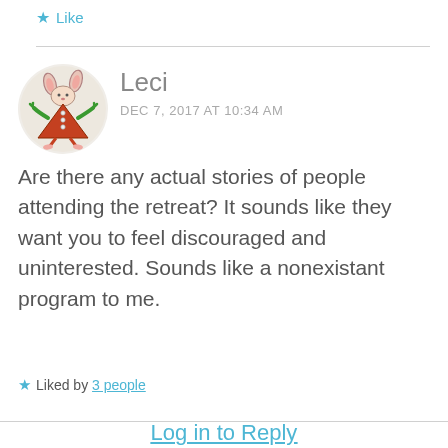Like
[Figure (illustration): Circular avatar showing a cartoon character resembling a decorated Christmas tree with rabbit ears, wearing an orange/red triangular dress with buttons, and green arms, on a beige background.]
Leci
DEC 7, 2017 AT 10:34 AM
Are there any actual stories of people attending the retreat? It sounds like they want you to feel discouraged and uninterested. Sounds like a nonexistant program to me.
Liked by 3 people
Log in to Reply